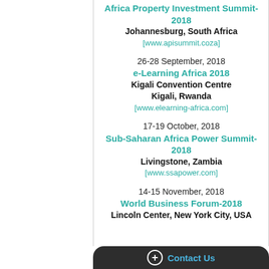Africa Property Investment Summit-2018
Johannesburg, South Africa
[www.apisummit.coza]
26-28 September, 2018
e-Learning Africa 2018
Kigali Convention Centre Kigali, Rwanda
[www.elearning-africa.com]
17-19 October, 2018
Sub-Saharan Africa Power Summit-2018
Livingstone, Zambia
[www.ssapower.com]
14-15 November, 2018
World Business Forum-2018
Lincoln Center, New York City, USA
+ Contact Us